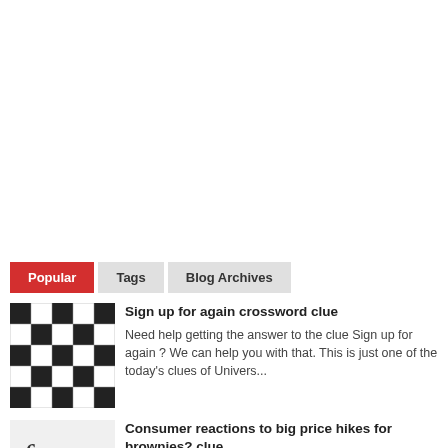Popular | Tags | Blog Archives
[Figure (photo): Crossword puzzle thumbnail image]
Sign up for again crossword clue
Need help getting the answer to the clue Sign up for again ? We can help you with that. This is just one of the today's clues of Univers...
[Figure (photo): Brownies or food related thumbnail image]
Consumer reactions to big price hikes for brownies? clue